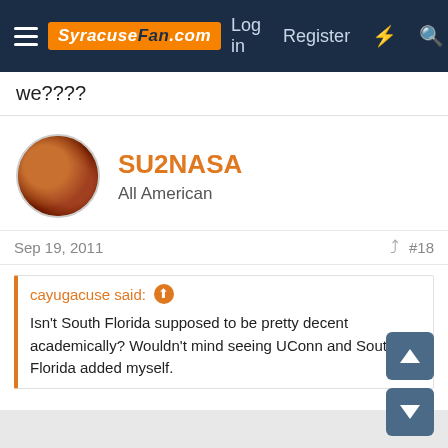SyracuseFan.com — Log in | Register
we????
SU2NASA
All American
Sep 19, 2011   #18
cayugacuse said: Isn't South Florida supposed to be pretty decent academically? Wouldn't mind seeing UConn and South Florida added myself.
USF is a commuter school. It's ranked #181 in the USNWR rankings which puts it as one of the worst universities in any BCS league.